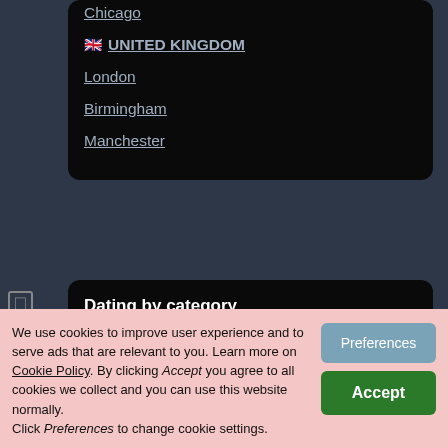Chicago
🇬🇧 UNITED KINGDOM
London
Birmingham
Manchester
Dating by category
Free online dating
We use cookies to improve user experience and to serve ads that are relevant to you. Learn more on Cookie Policy. By clicking Accept you agree to all cookies we collect and you can use this website normally. Click Preferences to change cookie settings.